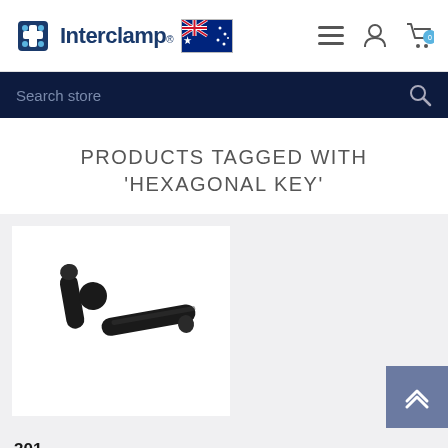Interclamp® [Australian flag] [hamburger menu] [user icon] [cart icon (0)]
Search store [search icon]
PRODUCTS TAGGED WITH 'HEXAGONAL KEY'
[Figure (photo): A black L-shaped hexagonal (Allen) key tool photographed on a white background]
301